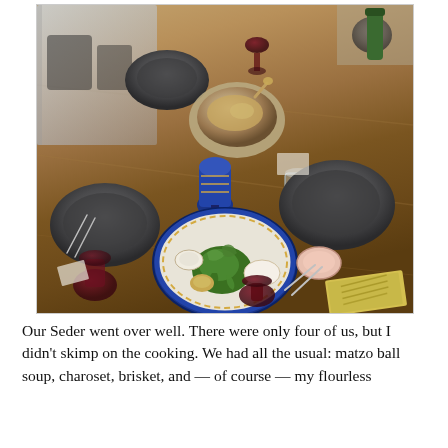[Figure (photo): Overhead view of a Passover Seder table set with a wooden dining table, multiple dark gray plates, a decorative blue-and-white Seder plate with dill/herbs and small bowls, a blue ornate Kiddush goblet, wine glasses with red wine, a bowl of charoset, a yellow Haggadah book in the corner, and large windows in the background.]
Our Seder went over well. There were only four of us, but I didn't skimp on the cooking. We had all the usual: matzo ball soup, charoset, brisket, and — of course — my flourless chocolate cake.